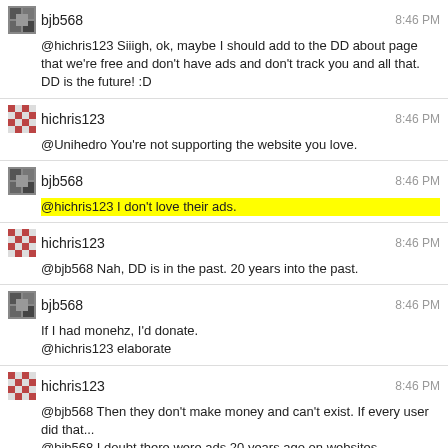bjb568 8:46 PM @hichris123 Siiigh, ok, maybe I should add to the DD about page that we're free and don't have ads and don't track you and all that. DD is the future! :D
hichris123 8:46 PM @Unihedro You're not supporting the website you love.
bjb568 8:46 PM @hichris123 I don't love their ads.
hichris123 8:46 PM @bjb568 Nah, DD is in the past. 20 years into the past.
bjb568 8:46 PM If I had monehz, I'd donate. @hichris123 elaborate
hichris123 8:46 PM @bjb568 Then they don't make money and can't exist. If every user did that... @bjb568 I doubt there were ads 20 years ago on websites.
[Figure (screenshot): Doorknob user post at 8:47 PM with a 4-panel comic strip about negative reviews and hotel ratings]